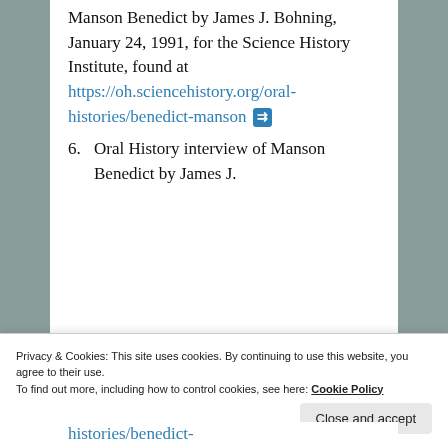Manson Benedict by James J. Bohning, January 24, 1991, for the Science History Institute, found at https://oh.sciencehistory.org/oral-histories/benedict-manson&#160; [link icon]
6. Oral History interview of Manson Benedict by James J.
Privacy & Cookies: This site uses cookies. By continuing to use this website, you agree to their use. To find out more, including how to control cookies, see here: Cookie Policy
Close and accept
histories/benedict-